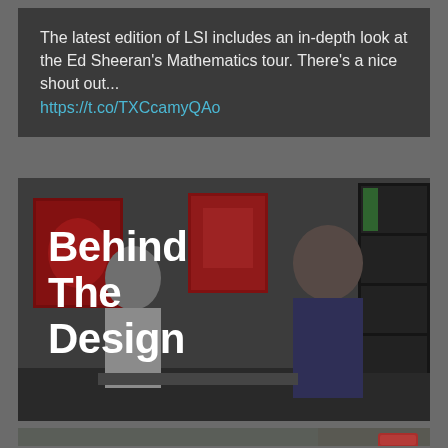The latest edition of LSI includes an in-depth look at the Ed Sheeran's Mathematics tour. There's a nice shout out... https://t.co/TXCcamyQAo
[Figure (photo): Photo of two people in a design studio with red artwork on the walls and a dark shelving unit. Bold white text overlay reads 'Behind The Design'.]
[Figure (photo): Close-up photo of slate tiles and a hammer on a wire mesh grid, suggesting design/construction materials work.]